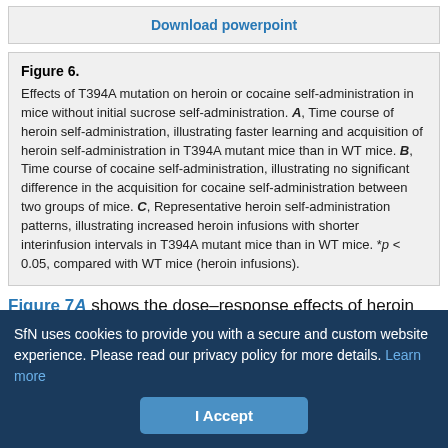Download powerpoint
Figure 6.
Effects of T394A mutation on heroin or cocaine self-administration in mice without initial sucrose self-administration. A, Time course of heroin self-administration, illustrating faster learning and acquisition of heroin self-administration in T394A mutant mice than in WT mice. B, Time course of cocaine self-administration, illustrating no significant difference in the acquisition for cocaine self-administration between two groups of mice. C, Representative heroin self-administration patterns, illustrating increased heroin infusions with shorter interinfusion intervals in T394A mutant mice than in WT mice. *p < 0.05, compared with WT mice (heroin infusions).
Figure 7A shows the dose–response effects of heroin self-administration, indicating that the T394A mutation significantly shifted the heroin self-administration dose–response curve upward (F...
SfN uses cookies to provide you with a secure and custom website experience. Please read our privacy policy for more details. Learn more